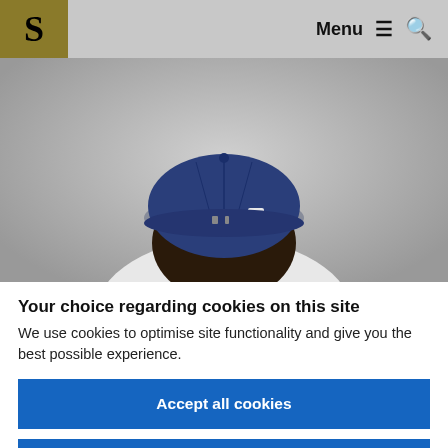S  Menu ☰ 🔍
[Figure (photo): Back view of a person wearing a navy blue baseball cap and white shirt, photographed against a light gray background.]
Your choice regarding cookies on this site
We use cookies to optimise site functionality and give you the best possible experience.
Accept all cookies
Adjust cookie settings